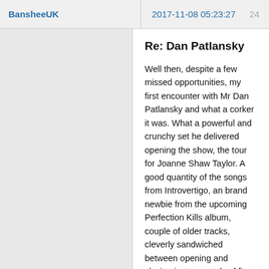BansheeUK  2017-11-08 05:23:27  24
Re: Dan Patlansky
Well then, despite a few missed opportunities, my first encounter with Mr Dan Patlansky and what a corker it was. What a powerful and crunchy set he delivered opening the show, the tour for Joanne Shaw Taylor. A good quantity of the songs from Introvertigo, an brand newbie from the upcoming Perfection Kills album, couple of older tracks, cleverly sandwiched between opening and closing instrumentals of fire-spitting fret shredding. Damn good songs, and a damn fine band behind him too.
Would I say he was great? Put it this way, 1st thing on winding up the ol' laptop - book a ticket for next March's tour (overdue Cluny visit): 2nd thing pre-order new album for Feb 2nd release.,